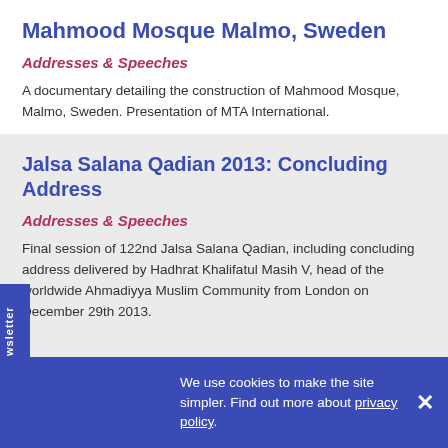Mahmood Mosque Malmo, Sweden
Addresses & Speeches
A documentary detailing the construction of Mahmood Mosque, Malmo, Sweden. Presentation of MTA International.
Jalsa Salana Qadian 2013: Concluding Address
Addresses & Speeches
Final session of 122nd Jalsa Salana Qadian, including concluding address delivered by Hadhrat Khalifatul Masih V, head of the worldwide Ahmadiyya Muslim Community from London on December 29th 2013.
We use cookies to make the site simpler. Find out more about privacy policy.